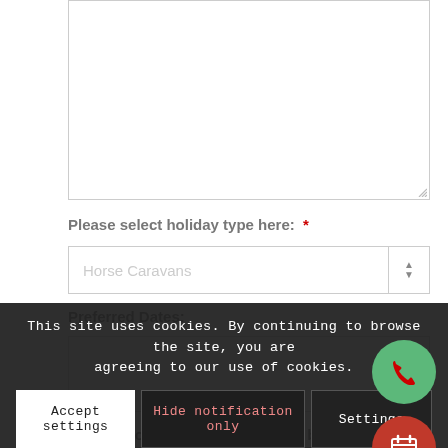(textarea - top, empty)
Please select holiday type here: *
Horse Caravans (dropdown placeholder)
Preferred Dates:
(textarea - preferred dates, empty)
Please prove that you are human by solving the equation *
This site uses cookies. By continuing to browse the site, you are agreeing to our use of cookies.
Accept settings
Hide notification only
Settings